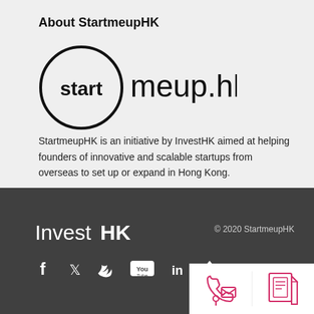About StartmeupHK
[Figure (logo): startmeup.hk logo — the word 'start' inside a circle, followed by 'meup.hk' in large sans-serif text]
StartmeupHK is an initiative by InvestHK aimed at helping founders of innovative and scalable startups from overseas to set up or expand in Hong Kong.
[Figure (logo): InvestHK logo in white text on dark background]
© 2020 StartmeupHK
[Figure (infographic): Social media icons: Facebook, Twitter, YouTube, LinkedIn, and a share/upload icon in white on dark background]
[Figure (infographic): Two pink icons on white background: a phone/contact icon and a newsletter/document icon]